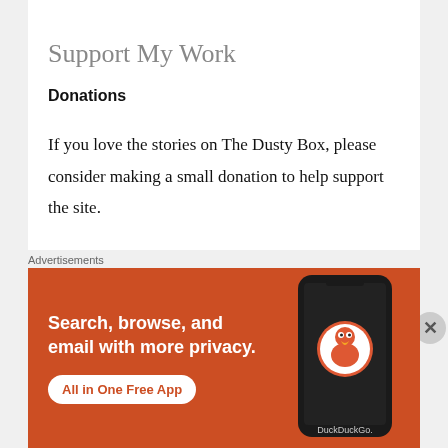Support My Work
Donations
If you love the stories on The Dusty Box, please consider making a small donation to help support the site.
A$5.00
[Figure (screenshot): A quantity input box showing '1' with up/down arrows, and a PayPal payment button]
[Figure (other): DuckDuckGo advertisement banner: orange background with text 'Search, browse, and email with more privacy. All in One Free App' and a phone showing DuckDuckGo logo]
Advertisements